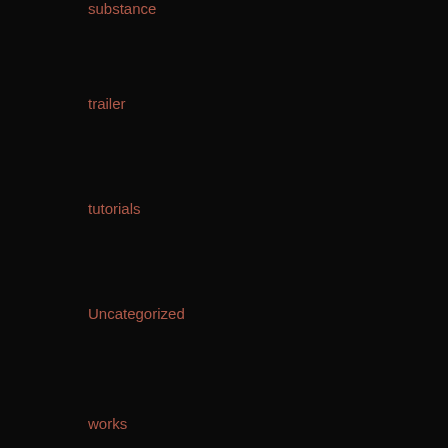substance
trailer
tutorials
Uncategorized
works
META
Register
Log in
Entries feed
Comments feed